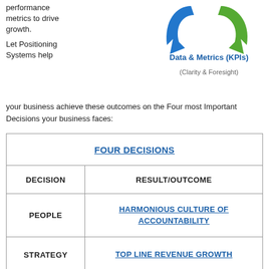performance metrics to drive growth.
[Figure (illustration): Two curved arrows: a blue arrow on the left curving down and a green arrow on the right curving down, above the 'Data & Metrics (KPIs)' label.]
Data & Metrics (KPIs)
(Clarity & Foresight)
Let Positioning Systems help your business achieve these outcomes on the Four most Important Decisions your business faces:
| FOUR DECISIONS |
| --- |
| DECISION | RESULT/OUTCOME |
| PEOPLE | HARMONIOUS CULTURE OF ACCOUNTABILITY |
| STRATEGY | TOP LINE REVENUE GROWTH |
| EXECUTION | PROFIT |